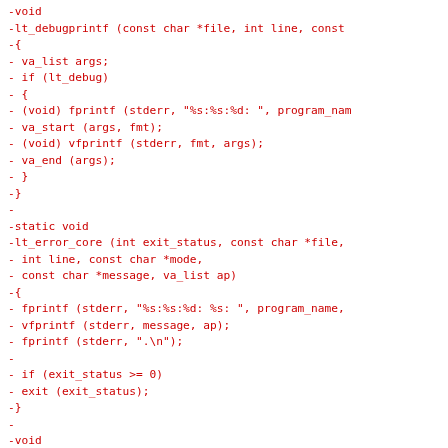-void
-lt_debugprintf (const char *file, int line, const
-{
- va_list args;
- if (lt_debug)
- {
- (void) fprintf (stderr, "%s:%s:%d: ", program_nam
- va_start (args, fmt);
- (void) vfprintf (stderr, fmt, args);
- va_end (args);
- }
-}
-
-static void
-lt_error_core (int exit_status, const char *file,
- int line, const char *mode,
- const char *message, va_list ap)
-{
- fprintf (stderr, "%s:%s:%d: %s: ", program_name,
- vfprintf (stderr, message, ap);
- fprintf (stderr, ".\n");
-
- if (exit_status >= 0)
- exit (exit_status);
-}
-
-void
-lt_fatal (const char *file, int line, const char *
-{
- va list ap;